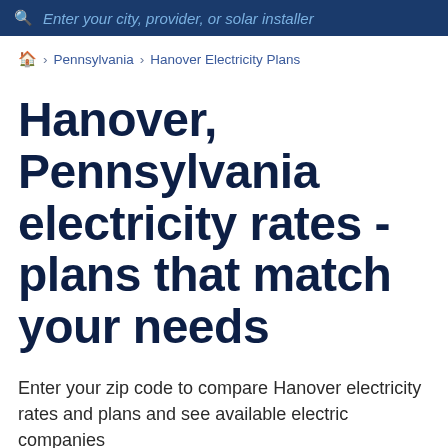Enter your city, provider, or solar installer
🏠 › Pennsylvania › Hanover Electricity Plans
Hanover, Pennsylvania electricity rates - plans that match your needs
Enter your zip code to compare Hanover electricity rates and plans and see available electric companies